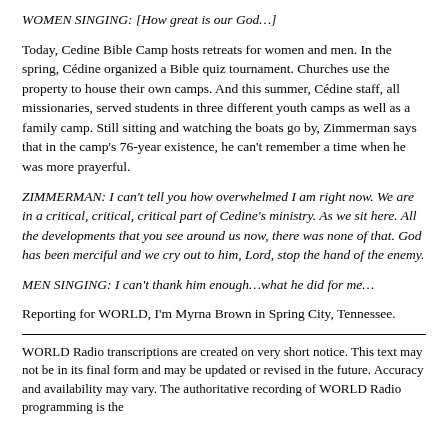WOMEN SINGING: [How great is our God…]
Today, Cedine Bible Camp hosts retreats for women and men. In the spring, Cédine organized a Bible quiz tournament. Churches use the property to house their own camps. And this summer, Cédine staff, all missionaries, served students in three different youth camps as well as a family camp. Still sitting and watching the boats go by, Zimmerman says that in the camp's 76-year existence, he can't remember a time when he was more prayerful.
ZIMMERMAN: I can't tell you how overwhelmed I am right now. We are in a critical, critical, critical part of Cedine's ministry. As we sit here. All the developments that you see around us now, there was none of that. God has been merciful and we cry out to him, Lord, stop the hand of the enemy.
MEN SINGING: I can't thank him enough…what he did for me…
Reporting for WORLD, I'm Myrna Brown in Spring City, Tennessee.
WORLD Radio transcriptions are created on very short notice. This text may not be in its final form and may be updated or revised in the future. Accuracy and availability may vary. The authoritative recording of WORLD Radio programming is the